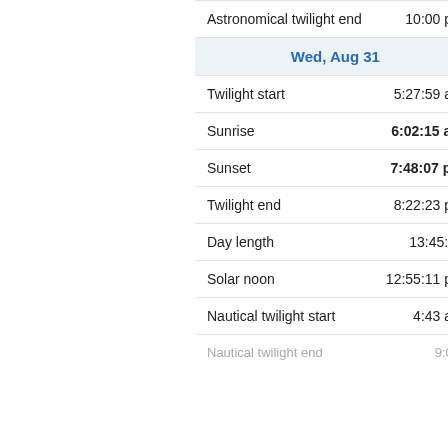| Event | Time |
| --- | --- |
| Astronomical twilight end | 10:00 pm |
| Wed, Aug 31 |  |
| Twilight start | 5:27:59 am |
| Sunrise | 6:02:15 am |
| Sunset | 7:48:07 pm |
| Twilight end | 8:22:23 pm |
| Day length | 13:45:52 |
| Solar noon | 12:55:11 pm |
| Nautical twilight start | 4:43 am |
| Nautical twilight end | ... |